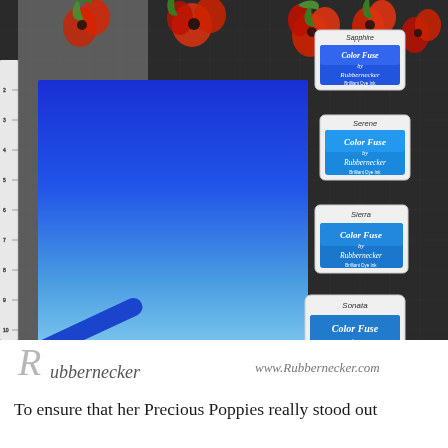[Figure (photo): A crafting scene on a black cutting mat showing a bright blue ombre blended card panel (transitioning from deep royal blue at top to light sky blue at bottom), a blue brayer tool in the lower left, four Rubbernecker Color Fuse ink pads on the right side labeled Sapphire, Serene, Sierra, and Sonata, and red poppy flower die cuts with green leaves in the upper area. The Rubbernecker logo and website www.Rubbernecker.com appear at the bottom of the image.]
To ensure that her Precious Poppies really stood out